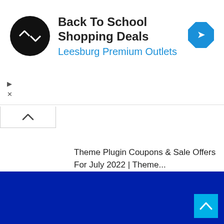[Figure (other): Advertisement banner: Back To School Shopping Deals at Leesburg Premium Outlets, with a circular logo and diamond navigation icon. Play and close controls visible.]
Theme Plugin Coupons & Sale Offers For July 2022 | Theme...
July 5, 2022
kentucky abortion trigger law kentucky abortion law 2022
July 3, 2022